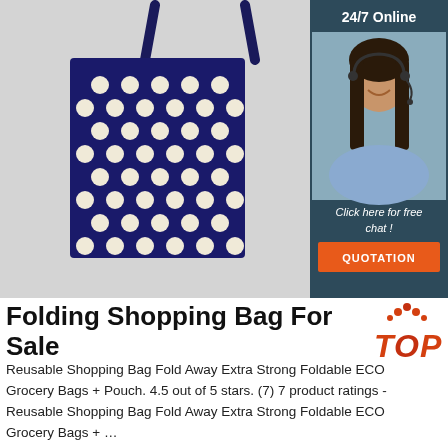[Figure (photo): Navy blue polka dot folding shopping bag hanging against grey background, with a 24/7 Online chat widget overlay in the top right showing a female customer service representative wearing a headset, with 'Click here for free chat!' text and an orange QUOTATION button]
Folding Shopping Bag For Sale
[Figure (logo): Orange and red TOP logo with dots above the letters]
Reusable Shopping Bag Fold Away Extra Strong Foldable ECO Grocery Bags + Pouch. 4.5 out of 5 stars. (7) 7 product ratings - Reusable Shopping Bag Fold Away Extra Strong Foldable ECO Grocery Bags + …